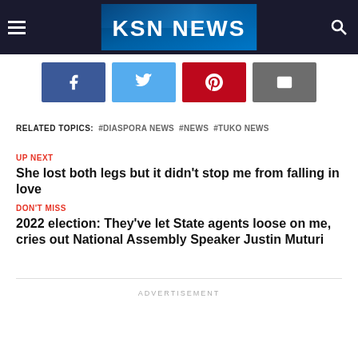KSN NEWS
[Figure (logo): KSN NEWS logo on dark blue background with hamburger menu and search icon]
[Figure (infographic): Social share buttons: Facebook (blue), Twitter (light blue), Pinterest (red), Email (grey)]
RELATED TOPICS: #DIASPORA NEWS #NEWS #TUKO NEWS
UP NEXT
She lost both legs but it didn't stop me from falling in love
DON'T MISS
2022 election: They've let State agents loose on me, cries out National Assembly Speaker Justin Muturi
ADVERTISEMENT